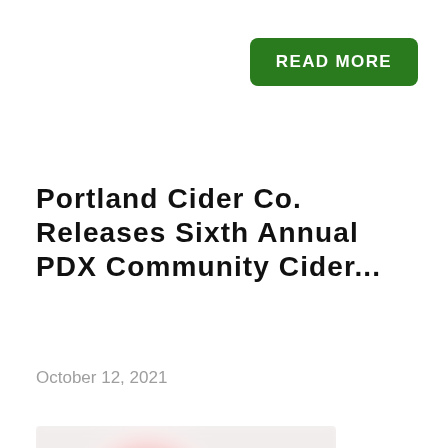READ MORE
Portland Cider Co. Releases Sixth Annual PDX Community Cider...
October 12, 2021
[Figure (photo): Blurred/obscured product image showing a reddish shape on a light background]